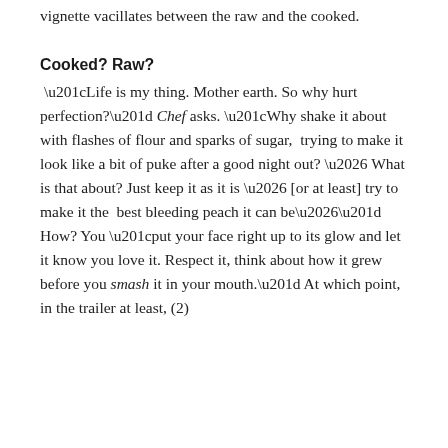vignette vacillates between the raw and the cooked.
Cooked? Raw?
“Life is my thing. Mother earth. So why hurt perfection?” Chef asks. “Why shake it about with flashes of flour and sparks of sugar,  trying to make it look like a bit of puke after a good night out? … What  is that about? Just keep it as it is … [or at least] try to make it the  best bleeding peach it can be…” How? You “put your face right up to its glow and let it know you love it. Respect it, think about how it grew before you smash it in your mouth.” At which point, in the trailer at least, (2)